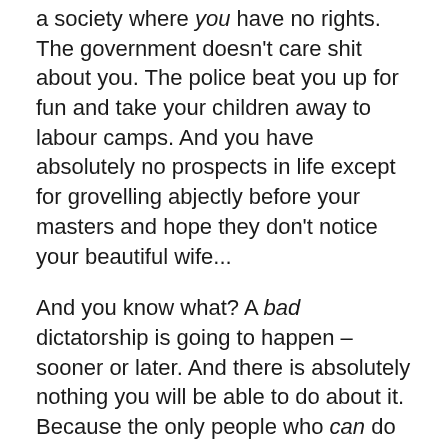a society where you have no rights. The government doesn't care shit about you. The police beat you up for fun and take your children away to labour camps. And you have absolutely no prospects in life except for grovelling abjectly before your masters and hope they don't notice your beautiful wife...
And you know what? A bad dictatorship is going to happen – sooner or later. And there is absolutely nothing you will be able to do about it. Because the only people who can do anything are those who are in power – and they are not going to be listening to you. Why should they? You are not living in a democracy any more, so they sure couldn't care less about what you may think.
A bad dictatorship is what happens when your good dictator dies, and his son takes over...